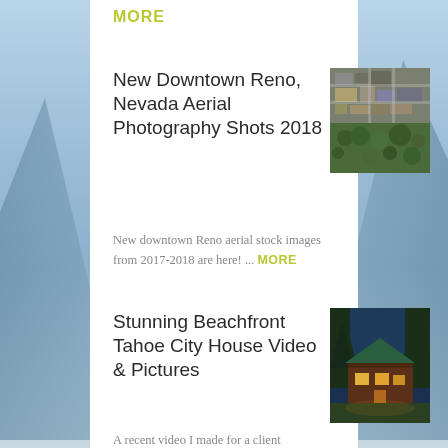MORE
New Downtown Reno, Nevada Aerial Photography Shots 2018
[Figure (photo): Aerial photograph of downtown Reno, Nevada showing city blocks and streets from above]
New downtown Reno aerial stock images from 2017-2018 are here! ... MORE
Stunning Beachfront Tahoe City House Video & Pictures
[Figure (photo): Photo of a log cabin / beachfront house at Lake Tahoe City at dusk with warm interior lighting]
A recent video I made for a client